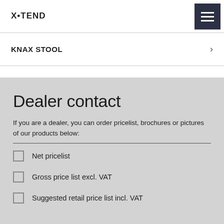X•TEND
KNAX STOOL
Dealer contact
If you are a dealer, you can order pricelist, brochures or pictures of our products below:
Net pricelist
Gross price list excl. VAT
Suggested retail price list incl. VAT